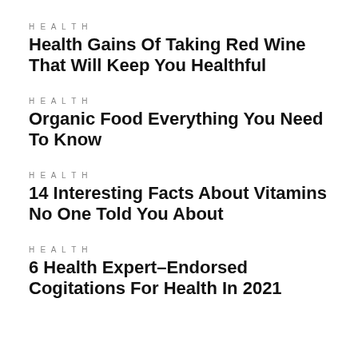HEALTH
Health Gains Of Taking Red Wine That Will Keep You Healthful
HEALTH
Organic Food Everything You Need To Know
HEALTH
14 Interesting Facts About Vitamins No One Told You About
HEALTH
6 Health Expert–Endorsed Cogitations For Health In 2021